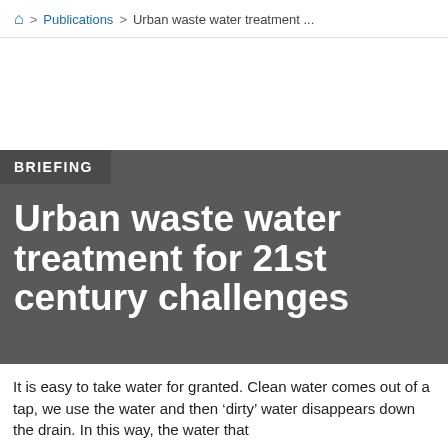🏠 > Publications > Urban waste water treatment ...
BRIEFING
Urban waste water treatment for 21st century challenges
It is easy to take water for granted. Clean water comes out of a tap, we use the water and then 'dirty' water disappears down the drain. In this way, the water that